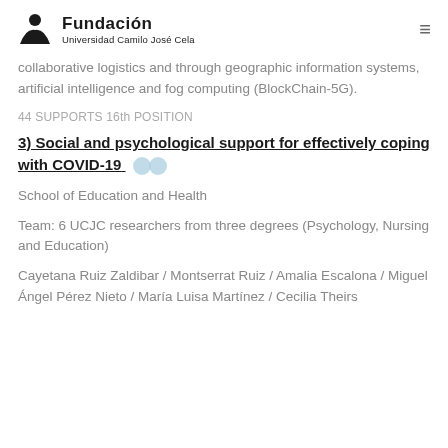Fundación Universidad Camilo José Cela
collaborative logistics and through geographic information systems, artificial intelligence and fog computing (BlockChain-5G).
44 SUPPORTS 16th POSITION
3) Social and psychological support for effectively coping with COVID-19
School of Education and Health
Team: 6 UCJC researchers from three degrees (Psychology, Nursing and Education)
Cayetana Ruiz Zaldibar / Montserrat Ruiz / Amalia Escalona / Miguel Ángel Pérez Nieto / María Luisa Martínez / Cecilia Theirs